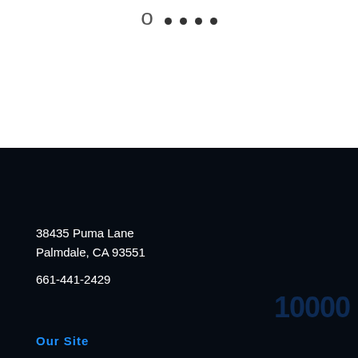[Figure (logo): Partial logo at top with decorative arc character and dark dots in a row on white background]
38435 Puma Lane
Palmdale, CA 93551
661-441-2429
Our Site